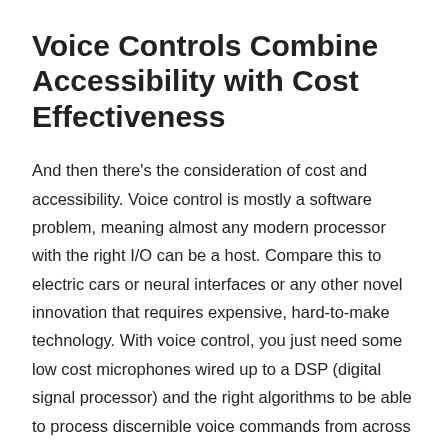Voice Controls Combine Accessibility with Cost Effectiveness
And then there's the consideration of cost and accessibility. Voice control is mostly a software problem, meaning almost any modern processor with the right I/O can be a host. Compare this to electric cars or neural interfaces or any other novel innovation that requires expensive, hard-to-make technology. With voice control, you just need some low cost microphones wired up to a DSP (digital signal processor) and the right algorithms to be able to process discernible voice commands from across the room. While costs can be a bit higher today as this technology is so new, there's no reason voice control won't be extremely affordable when you consider the